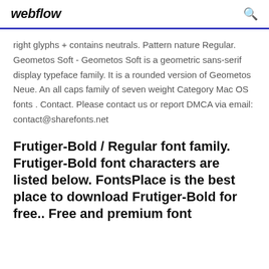webflow
right glyphs + contains neutrals. Pattern nature Regular. Geometos Soft - Geometos Soft is a geometric sans-serif display typeface family. It is a rounded version of Geometos Neue. An all caps family of seven weight Category Mac OS fonts . Contact. Please contact us or report DMCA via email: contact@sharefonts.net
Frutiger-Bold / Regular font family. Frutiger-Bold font characters are listed below. FontsPlace is the best place to download Frutiger-Bold for free.. Free and premium font